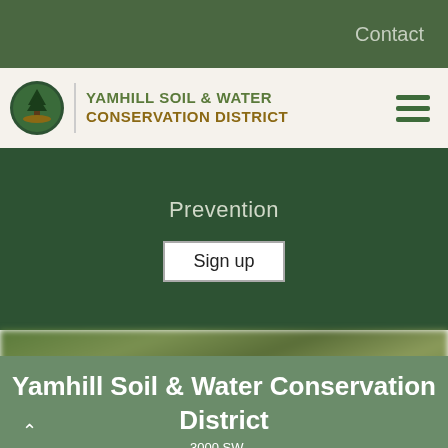Contact
[Figure (logo): Yamhill Soil & Water Conservation District logo with circular emblem showing tree and land]
YAMHILL SOIL & WATER CONSERVATION DISTRICT
Prevention
Sign up
[Figure (photo): Blurred green nature/foliage background photo]
Yamhill Soil & Water Conservation District
3000 SW ...